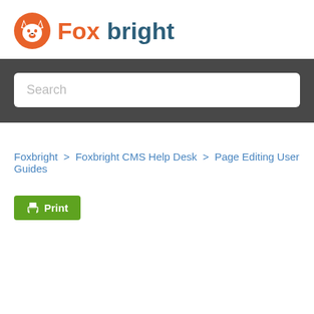[Figure (logo): Foxbright logo: orange circle with white fox face icon, followed by text 'Fox' in orange and 'bright' in dark teal]
[Figure (screenshot): Dark grey search bar band with a white rounded rectangle search input showing placeholder text 'Search']
Foxbright  >  Foxbright CMS Help Desk  >  Page Editing User Guides
[Figure (other): Green 'Print' button with printer icon]